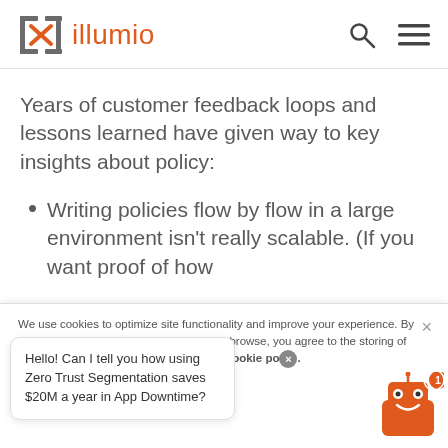illumio
Years of customer feedback loops and lessons learned have given way to key insights about policy:
Writing policies flow by flow in a large environment isn't really scalable. (If you want proof of how
We use cookies to optimize site functionality and improve your experience. By clicking "Accept" cookies or continuing to browse, you agree to the storing of cookies on your device according to our cookie policy.
Hello! Can I tell you how using Zero Trust Segmentation saves $20M a year in App Downtime?